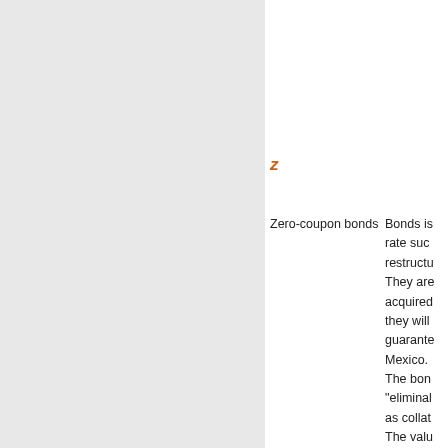other typ messages
Z
Zero-coupon bonds
Bonds is rate suc restructu They are acquired they will guarante Mexico. The bon "eliminal as collat The valu that it ec can ther these bo investme